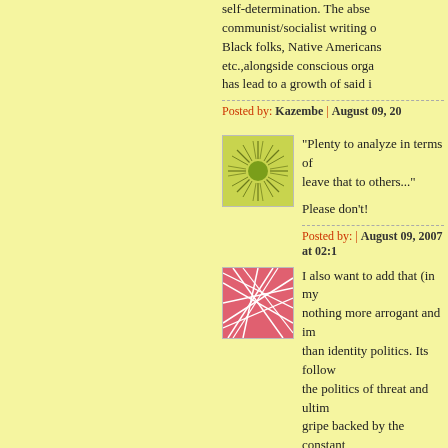self-determination. The absence of communist/socialist writing on Black folks, Native Americans, etc.,alongside conscious organizations has lead to a growth of said i...
Posted by: Kazembe | August 09, 20...
[Figure (illustration): Green sunburst avatar icon - circular green center with radiating lines on yellow-green square background]
"Plenty to analyze in terms of... leave that to others..."

Please don't!
Posted by: | August 09, 2007 at 02:1...
[Figure (illustration): Pink/red geometric abstract avatar icon with white intersecting lines on pink background]
I also want to add that (in my... nothing more arrogant and im... than identity politics. Its follow... the politics of threat and ultim... gripe backed by the constant... down the temple."

They are not interested in yo... Don't want to hear what you...